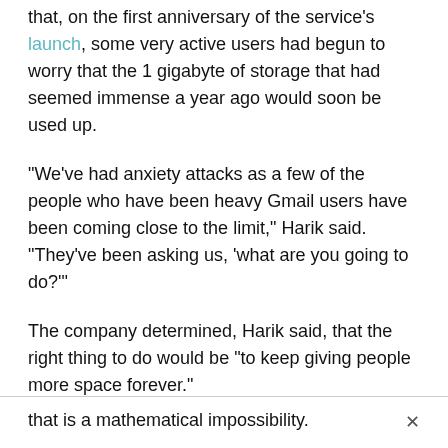that, on the first anniversary of the service's launch, some very active users had begun to worry that the 1 gigabyte of storage that had seemed immense a year ago would soon be used up.
"We've had anxiety attacks as a few of the people who have been heavy Gmail users have been coming close to the limit," Harik said. "They've been asking us, 'what are you going to do?'"
The company determined, Harik said, that the right thing to do would be “to keep giving people more space forever.”
A Google spokesman said it was important not to characterize the ever-increasing storage as endless, because that is a mathematical impossibility.